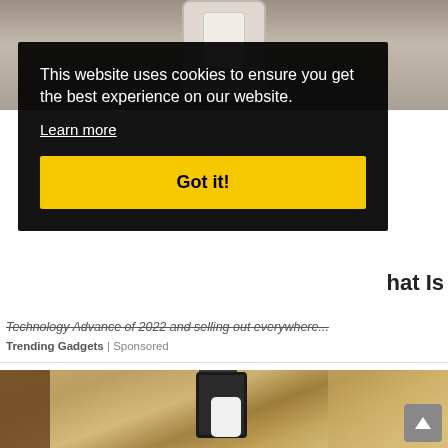[Figure (photo): Top portion of a webpage showing a hand holding a device against a beige/brown background]
This website uses cookies to ensure you get the best experience on our website.
Learn more
Got it!
hat Is
Technology Advance of 2022 and selling out everywhere...
Trending Gadgets | Sponsored
[Figure (photo): Outdoor wall lantern with a white LED bulb mounted on a stone/stucco wall, with a black metal frame]